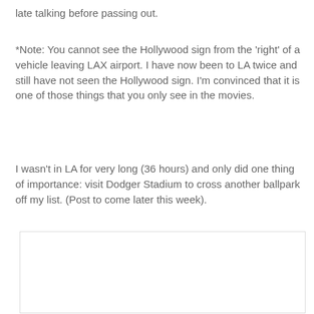late talking before passing out.
*Note: You cannot see the Hollywood sign from the 'right' of a vehicle leaving LAX airport. I have now been to LA twice and still have not seen the Hollywood sign. I'm convinced that it is one of those things that you only see in the movies.
I wasn't in LA for very long (36 hours) and only did one thing of importance: visit Dodger Stadium to cross another ballpark off my list. (Post to come later this week).
[Figure (other): A blank white rectangle with a light gray border, likely a placeholder for an embedded image or media.]